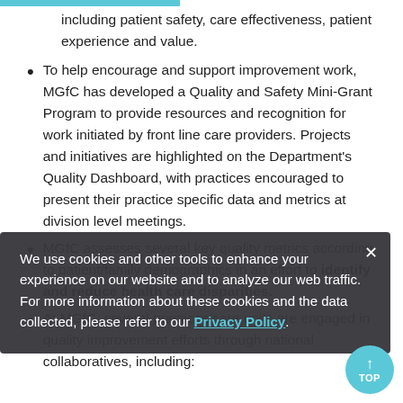including patient safety, care effectiveness, patient experience and value.
To help encourage and support improvement work, MGfC has developed a Quality and Safety Mini-Grant Program to provide resources and recognition for work initiated by front line care providers. Projects and initiatives are highlighted on the Department's Quality Dashboard, with practices encouraged to present their practice specific data and metrics at division level meetings.
MGfC assesses several key quality metrics according to patient/family demographics in an effort to identify and reduce health care disparities.
At MGfC, several practices/care units are engaged in quality improvement efforts through national collaboratives, including:
We use cookies and other tools to enhance your experience on our website and to analyze our web traffic. For more information about these cookies and the data collected, please refer to our Privacy Policy.